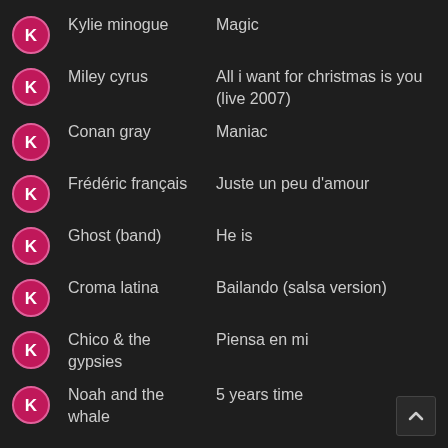Kylie minogue — Magic
Miley cyrus — All i want for christmas is you (live 2007)
Conan gray — Maniac
Frédéric françois — Juste un peu d'amour
Ghost (band) — He is
Croma latina — Bailando (salsa version)
Chico & the gypsies — Piensa en mi
Noah and the whale — 5 years time